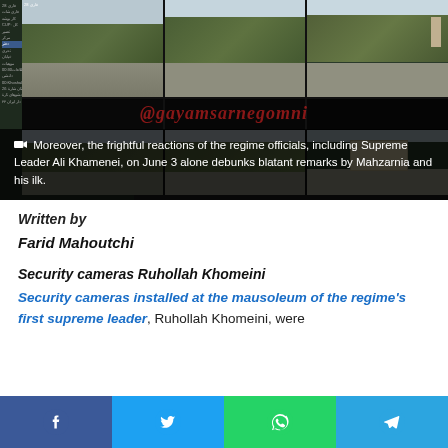[Figure (screenshot): Security camera footage grid showing multiple camera views of outdoor areas, with a left panel listing camera feeds in Arabic/Persian text. A semi-transparent caption overlay reads: 'Moreover, the frightful reactions of the regime officials, including Supreme Leader Ali Khamenei, on June 3 alone debunks blatant remarks by Mahzarnia and his ilk.' A red italic watermark '@gayamsarnegomn' overlays the image.]
Written by
Farid Mahoutchi
Security cameras Ruhollah Khomeini
Security cameras installed at the mausoleum of the regime's first supreme leader, Ruhollah Khomeini, were
[Figure (infographic): Social media share bar with Facebook, Twitter, WhatsApp, and Telegram buttons]